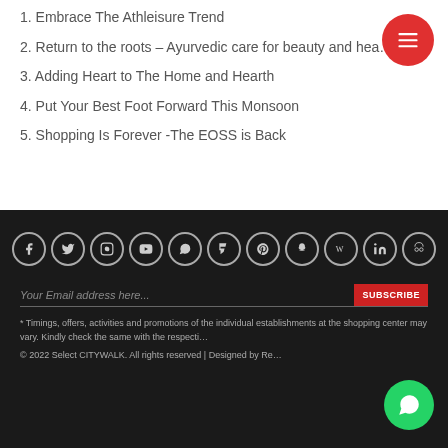1. Embrace The Athleisure Trend
2. Return to the roots – Ayurvedic care for beauty and hea…
3. Adding Heart to The Home and Hearth
4. Put Your Best Foot Forward This Monsoon
5. Shopping Is Forever -The EOSS is Back
[Figure (infographic): Row of 11 social media icon circles on dark background: Facebook, Twitter, Instagram, YouTube, WhatsApp, Foursquare, Pinterest, Snapchat, Wikipedia, LinkedIn, TripAdvisor]
Your Email address here...
SUBSCRIBE
* Timings, offers, activities and promotions of the individual establishments at the shopping center may vary. Kindly check the same with the respecti…
© 2022 Select CITYWALK. All rights reserved | Designed by Re…